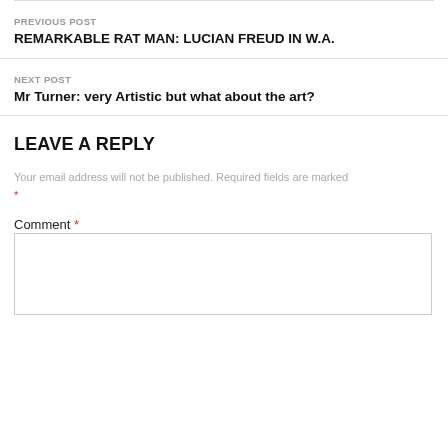PREVIOUS POST
REMARKABLE RAT MAN: LUCIAN FREUD IN W.A.
NEXT POST
Mr Turner: very Artistic but what about the art?
LEAVE A REPLY
Your email address will not be published. Required fields are marked *
Comment *